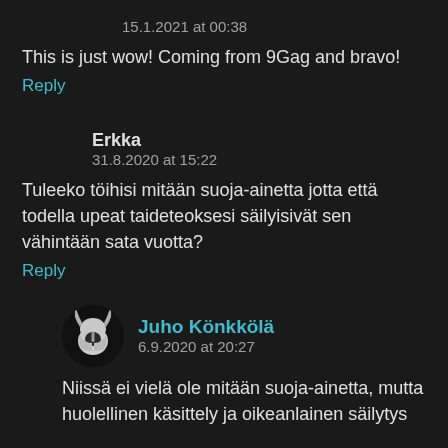15.1.2021 at 00:38
This is just wow! Coming from 9Gag and bravo!
Reply
Erkka
31.8.2020 at 15:22
Tuleeko töihisi mitään suoja-ainetta jotta että todella upeat taideteoksesi säilyisivät sen vähintään sata vuotta?
Reply
[Figure (photo): Avatar of Juho Könkkölä — a stylized warrior helmet icon in silver/white on dark background]
Juho Könkkölä
6.9.2020 at 20:27
Niissä ei vielä ole mitään suoja-ainetta, mutta huolellinen käsittely ja oikeanlainen säilytys